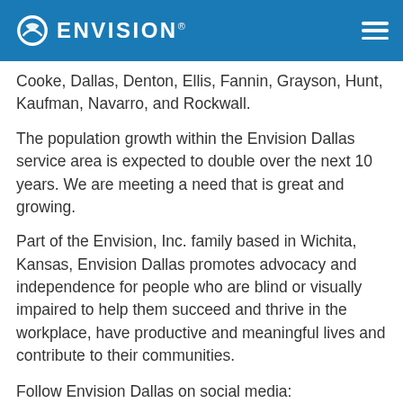ENVISION
Cooke, Dallas, Denton, Ellis, Fannin, Grayson, Hunt, Kaufman, Navarro, and Rockwall.
The population growth within the Envision Dallas service area is expected to double over the next 10 years. We are meeting a need that is great and growing.
Part of the Envision, Inc. family based in Wichita, Kansas, Envision Dallas promotes advocacy and independence for people who are blind or visually impaired to help them succeed and thrive in the workplace, have productive and meaningful lives and contribute to their communities.
Follow Envision Dallas on social media:
facebook.com/envisiondallas
twitter.com/envision_dallas (opens in new window)
instagram.com/envisiondallas (opens in new window)